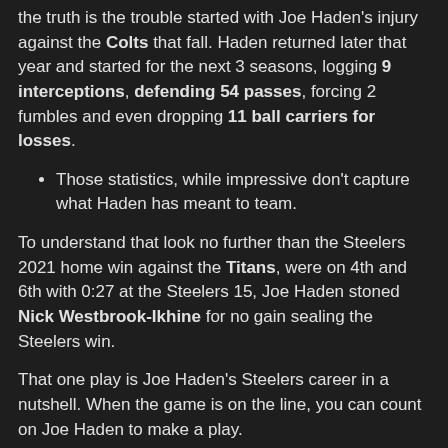the truth is the trouble started with Joe Haden's injury against the Colts that fall. Haden returned later that year and started for the next 3 seasons, logging 9 interceptions, defending 54 passes, forcing 2 fumbles and even dropping 11 ball carriers for losses.
Those statistics, while impressive don't capture what Haden has meant to team.
To understand that look no further than the Steelers 2021 home win against the Titans, were on 4th and 6th with 0:27 at the Steelers 15, Joe Haden stoned Nick Westbrook-Ikhine for no gain sealing the Steelers win.
That one play is Joe Haden's Steelers career in a nutshell. When the game is on the line, you can count on Joe Haden to make a play.